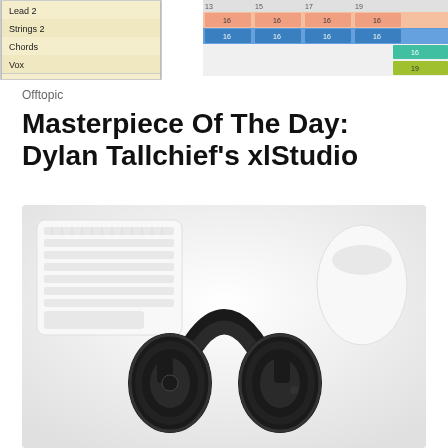[Figure (screenshot): Partial DAW (digital audio workstation) track list screenshot showing rows: Lead 2, Strings 2, Chords, Vox on the left side]
[Figure (screenshot): Partial DAW timeline/arrangement view screenshot showing colored track blocks at measures 13-19 on the right side]
Offtopic
Masterpiece Of The Day: Dylan Tallchief's xlStudio
[Figure (photo): Black over-ear headphones (Sony-style) lying on a white desk surface next to a white Apple keyboard and a white Apple Magic Mouse]